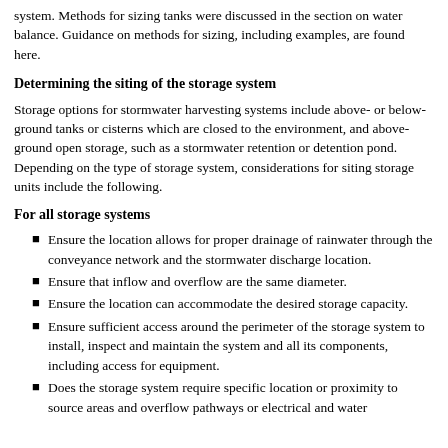system. Methods for sizing tanks were discussed in the section on water balance. Guidance on methods for sizing, including examples, are found here.
Determining the siting of the storage system
Storage options for stormwater harvesting systems include above- or below-ground tanks or cisterns which are closed to the environment, and above-ground open storage, such as a stormwater retention or detention pond. Depending on the type of storage system, considerations for siting storage units include the following.
For all storage systems
Ensure the location allows for proper drainage of rainwater through the conveyance network and the stormwater discharge location.
Ensure that inflow and overflow are the same diameter.
Ensure the location can accommodate the desired storage capacity.
Ensure sufficient access around the perimeter of the storage system to install, inspect and maintain the system and all its components, including access for equipment.
Does the storage system require specific location or proximity to source areas and overflow pathways or electrical and water